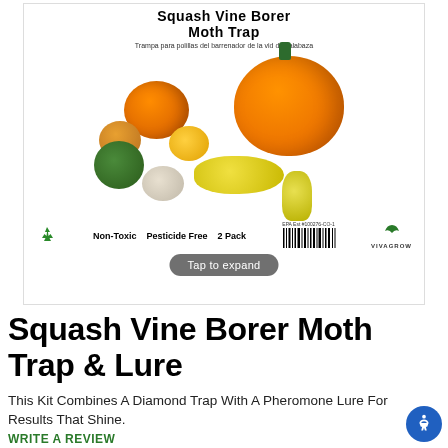[Figure (photo): Product packaging for Squash Vine Borer Moth Trap showing pumpkins and gourds with text: Non-Toxic, Pesticide Free, 2 Pack. EPA Est #100276-CO-1. Vivagrow brand. Tap to expand button overlay.]
Squash Vine Borer Moth Trap & Lure
This Kit Combines A Diamond Trap With A Pheromone Lure For Results That Shine.
WRITE A REVIEW